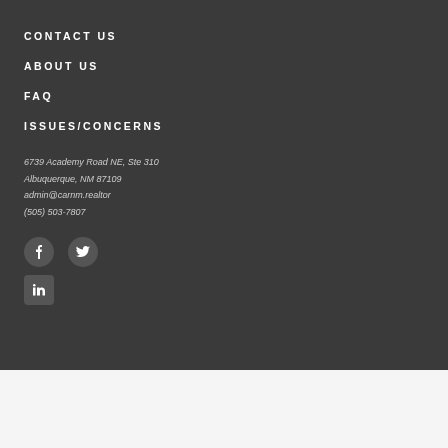CONTACT US
ABOUT US
FAQ
ISSUES/CONCERNS
6739 Academy Road NE, Ste 310
Albuquerque, NM 87109
admin@carnm.realtor
(505) 503-7807
[Figure (logo): Social media icons: Facebook (circle), Twitter (circle), LinkedIn (rounded square)]
[Figure (logo): Commercial Real Estate logo with red text and divider line]